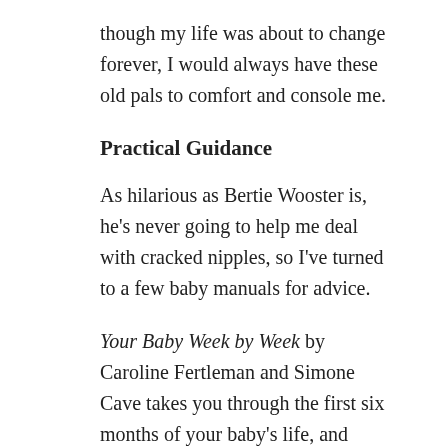though my life was about to change forever, I would always have these old pals to comfort and console me.
Practical Guidance
As hilarious as Bertie Wooster is, he's never going to help me deal with cracked nipples, so I've turned to a few baby manuals for advice.
Your Baby Week by Week by Caroline Fertleman and Simone Cave takes you through the first six months of your baby's life, and covers all the basics, from sleep patterns to how many dirty nappies you can expect to change daily. Whilst I've laughed heartily at some of the book's suggestions (at three months my baby should, apparently, have been feeding only once every three hours – HAHAHAHAHA!) there's a lot of sage advice on offer here